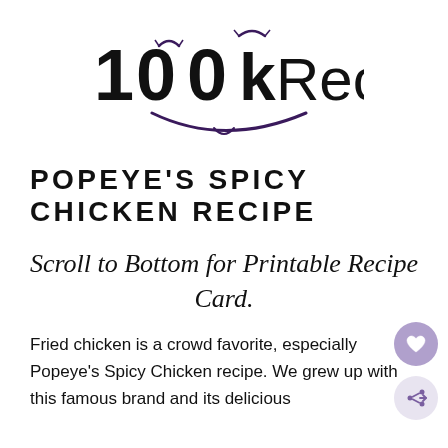[Figure (logo): 100kRecipes logo with decorative eyes and smile arc in purple/black]
POPEYE'S SPICY CHICKEN RECIPE
Scroll to Bottom for Printable Recipe Card.
Fried chicken is a crowd favorite, especially Popeye's Spicy Chicken recipe. We grew up with this famous brand and its delicious